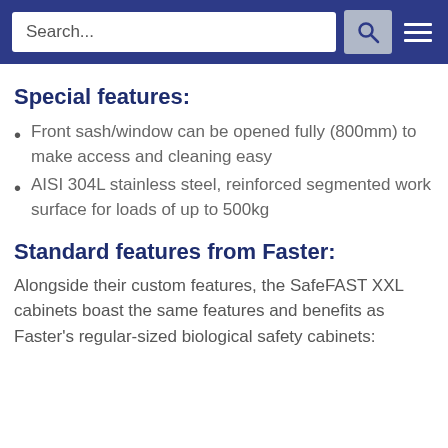Search...
Special features:
Front sash/window can be opened fully (800mm) to make access and cleaning easy
AISI 304L stainless steel, reinforced segmented work surface for loads of up to 500kg
Standard features from Faster:
Alongside their custom features, the SafeFAST XXL cabinets boast the same features and benefits as Faster's regular-sized biological safety cabinets: